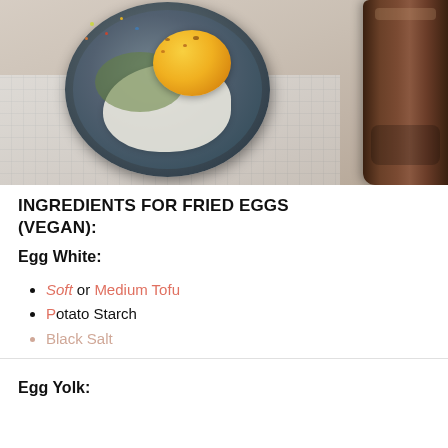[Figure (photo): Top-down photo of a fried egg on a dark decorative plate with colorful spices/pepper, placed on a white checkered cloth napkin, with a wooden pepper grinder in the upper right corner.]
INGREDIENTS FOR FRIED EGGS (VEGAN):
Egg White:
Soft or Medium Tofu
Potato Starch
Black Salt
Egg Yolk: